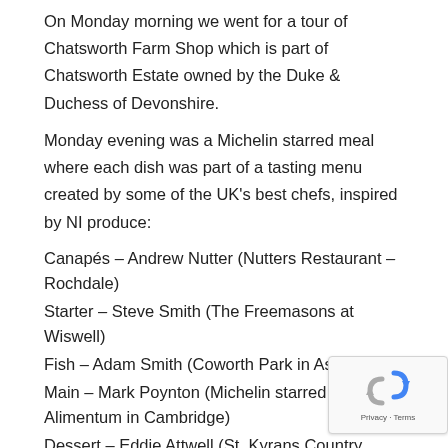On Monday morning we went for a tour of Chatsworth Farm Shop which is part of Chatsworth Estate owned by the Duke & Duchess of Devonshire.
Monday evening was a Michelin starred meal where each dish was part of a tasting menu created by some of the UK's best chefs, inspired by NI produce:
Canapés – Andrew Nutter (Nutters Restaurant – Rochdale)
Starter – Steve Smith (The Freemasons at Wiswell)
Fish – Adam Smith (Coworth Park in Ascot)
Main – Mark Poynton (Michelin starred Alimentum in Cambridge)
Dessert – Eddie Attwell (St. Kyrans Country House, Co...